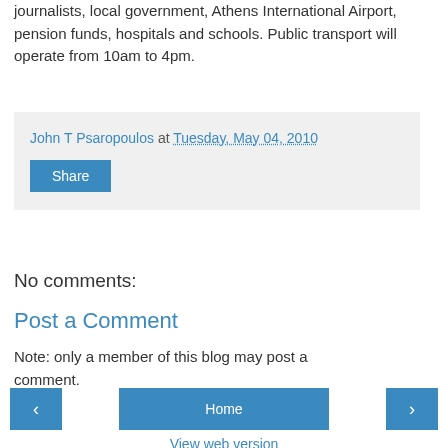journalists, local government, Athens International Airport, pension funds, hospitals and schools. Public transport will operate from 10am to 4pm.
John T Psaropoulos at Tuesday, May 04, 2010  Share
No comments:
Post a Comment
Note: only a member of this blog may post a comment.
‹  Home  ›
View web version
Powered by Blogger.